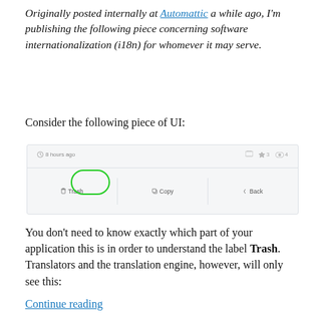Originally posted internally at Automattic a while ago, I'm publishing the following piece concerning software internationalization (i18n) for whomever it may serve.
Consider the following piece of UI:
[Figure (screenshot): A UI screenshot showing a post action bar with '8 hours ago', star and eye icons, and buttons: Trash (circled in green), Copy, Back]
You don't need to know exactly which part of your application this is in order to understand the label Trash. Translators and the translation engine, however, will only see this:
Continue reading